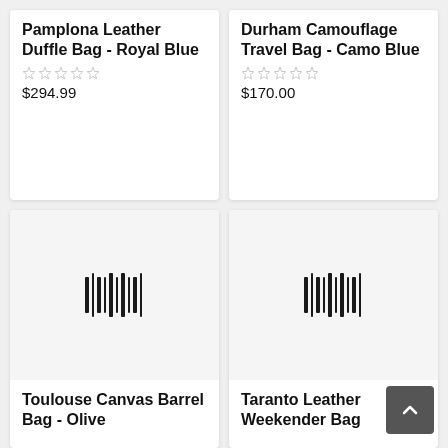Pamplona Leather Duffle Bag - Royal Blue
$294.99
Durham Camouflage Travel Bag - Camo Blue
$170.00
[Figure (other): Product image placeholder with barcode-like icon for Toulouse Canvas Barrel Bag - Olive]
Toulouse Canvas Barrel Bag - Olive
[Figure (other): Product image placeholder with barcode-like icon for Taranto Leather Weekender Bag]
Taranto Leather Weekender Bag